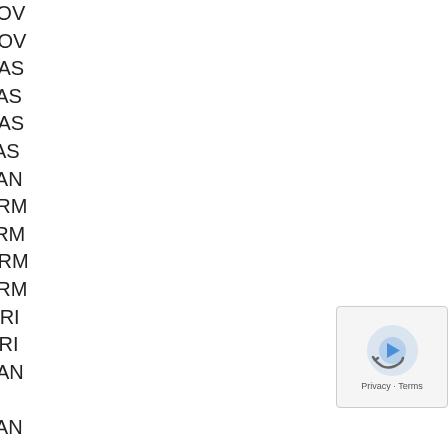13 83736STXA01ZF COV
14 83742STXA02ZB COV
15 83781STXA03ZC BAS
15 83781STXA03ZF BAS
15 83781STXA03ZH BAS
15 83781STXA03ZJ BAS
16 83782STXA03ZB PAN
17 83783STXA02ZC ARM
17 83783STXA02ZF ARM
17 83783STXA02ZG ARM
17 83783STXA02ZH ARM
18 83784STXA01ZC GRI
18 83784STXA01ZE GRI
19 83785STXA02ZC PAN IVORY
19 83785STXA02ZE PAN BLACK
20 83786STXA01ZB COV
20 83786STXA01ZC COV
20 83786STXA01ZE COV
20 83786STXA01ZF COV
21 83792STXA02ZB COV
22 90662SB2003 GROM
23 90666SDA
24 90666S84A
25 91560SLJJ
26 91661SEPA00 CLIP A